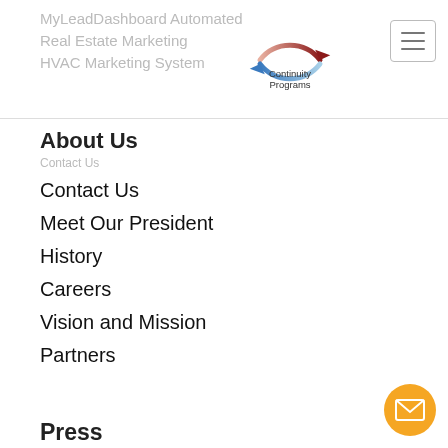MyLeadDashboard Automated Real Estate Marketing
HVAC Marketing System
[Figure (logo): Continuity Programs logo: circular arrows in dark red and blue with text 'Continuity Programs']
About Us
Contact Us
Meet Our President
History
Careers
Vision and Mission
Partners
Press